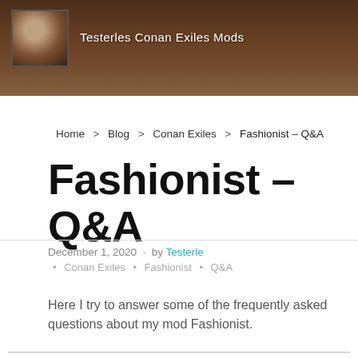[Figure (photo): Dark fantasy-themed header banner with a circular logo/avatar on the left showing a cat face illustration, and site title text on the right]
Testerles Conan Exiles Mods
Home > Blog > Conan Exiles > Fashionist – Q&A
Fashionist – Q&A
December 1, 2020 · by Testerle · Conan Exiles · Fashionist · Q&A
Here I try to answer some of the frequently asked questions about my mod Fashionist.